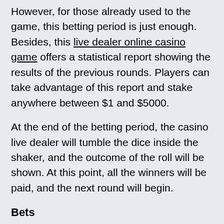However, for those already used to the game, this betting period is just enough. Besides, this live dealer online casino game offers a statistical report showing the results of the previous rounds. Players can take advantage of this report and stake anywhere between $1 and $5000.
At the end of the betting period, the casino live dealer will tumble the dice inside the shaker, and the outcome of the roll will be shown. At this point, all the winners will be paid, and the next round will begin.
Bets
Truth be told; a 30-second betting duration is not much time, especially for slow players. That's why players need to understand all the possibilities presented by the game before the timer starts. Like any other Sic Bo game, Sic Bo Tokyo allows players to choose from a wide range of betting options when